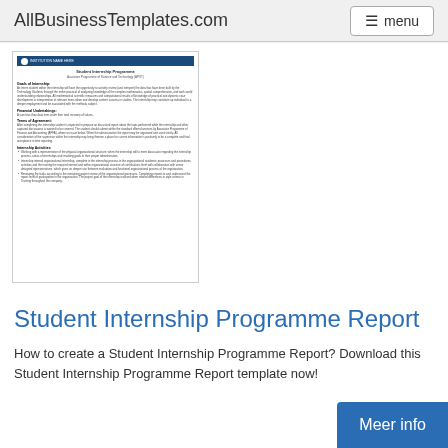AllBusinessTemplates.com
[Figure (screenshot): Thumbnail preview of a Student Internship Programme Report document with blue header bar and body text]
Student Internship Programme Report
How to create a Student Internship Programme Report? Download this Student Internship Programme Report template now!
[Figure (screenshot): Partial thumbnail of another document (student internship letter/form) shown at the bottom of the page]